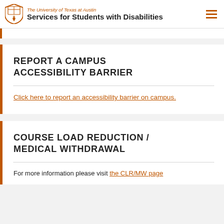The University of Texas at Austin – Services for Students with Disabilities
REPORT A CAMPUS ACCESSIBILITY BARRIER
Click here to report an accessibility barrier on campus.
COURSE LOAD REDUCTION / MEDICAL WITHDRAWAL
For more information please visit the CLR/MW page